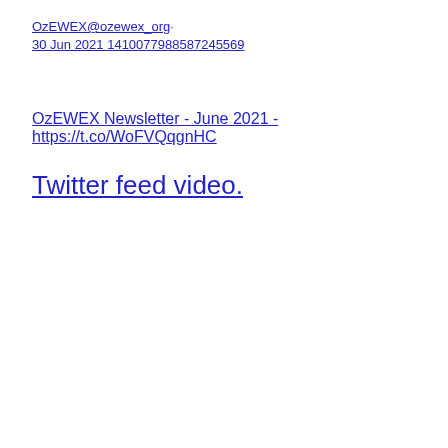OzEWEX@ozewex_org·
30 Jun 2021 1410077988587245569
OzEWEX Newsletter - June 2021 - https://t.co/WoFVQqgnHC
Twitter feed video.